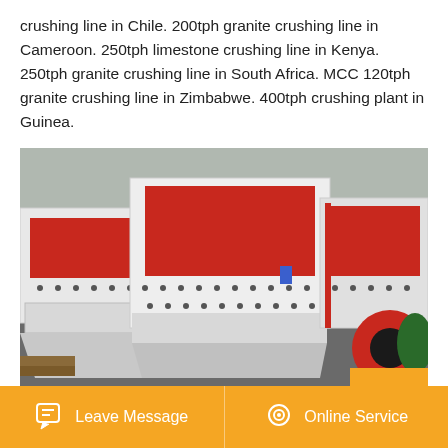crushing line in Chile. 200tph granite crushing line in Cameroon. 250tph limestone crushing line in Kenya. 250tph granite crushing line in South Africa. MCC 120tph granite crushing line in Zimbabwe. 400tph crushing plant in Guinea.
[Figure (photo): Industrial impact crushers / hammer mills (white and red machines) on a factory floor, with red and green rollers visible on the right side.]
Leave Message
Online Service